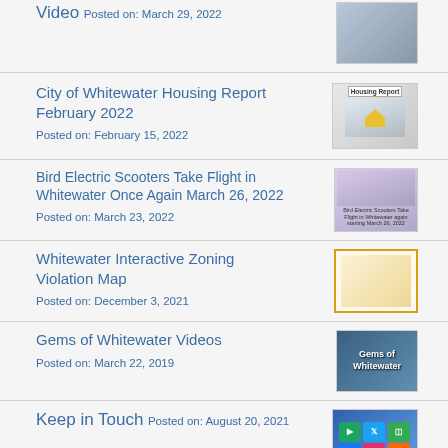Video
Posted on: March 29, 2022
City of Whitewater Housing Report February 2022
Posted on: February 15, 2022
Bird Electric Scooters Take Flight in Whitewater Once Again March 26, 2022
Posted on: March 23, 2022
Whitewater Interactive Zoning Violation Map
Posted on: December 3, 2021
Gems of Whitewater Videos
Posted on: March 22, 2019
Keep in Touch
Posted on: August 20, 2021